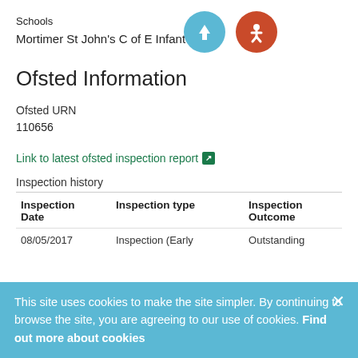Schools
Mortimer St John's C of E Infant School
Ofsted Information
Ofsted URN
110656
Link to latest ofsted inspection report ↗
Inspection history
| Inspection Date | Inspection type | Inspection Outcome |
| --- | --- | --- |
| 08/05/2017 | Inspection (Early | Outstanding |
This site uses cookies to make the site simpler. By continuing to browse the site, you are agreeing to our use of cookies. Find out more about cookies